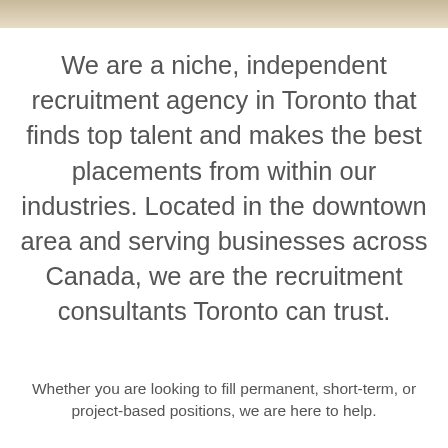We are a niche, independent recruitment agency in Toronto that finds top talent and makes the best placements from within our industries. Located in the downtown area and serving businesses across Canada, we are the recruitment consultants Toronto can trust.
Whether you are looking to fill permanent, short-term, or project-based positions, we are here to help.